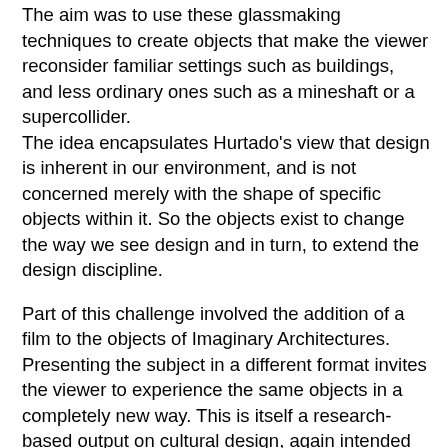The aim was to use these glassmaking techniques to create objects that make the viewer reconsider familiar settings such as buildings, and less ordinary ones such as a mineshaft or a supercollider. The idea encapsulates Hurtado's view that design is inherent in our environment, and is not concerned merely with the shape of specific objects within it. So the objects exist to change the way we see design and in turn, to extend the design discipline.
Part of this challenge involved the addition of a film to the objects of Imaginary Architectures. Presenting the subject in a different format invites the viewer to experience the same objects in a completely new way. This is itself a research-based output on cultural design, again intended to extend the boundaries of the way in which we see our environment.
The film is always shown in a large screen, encouraging us to relate to the subject matter as architecture rather